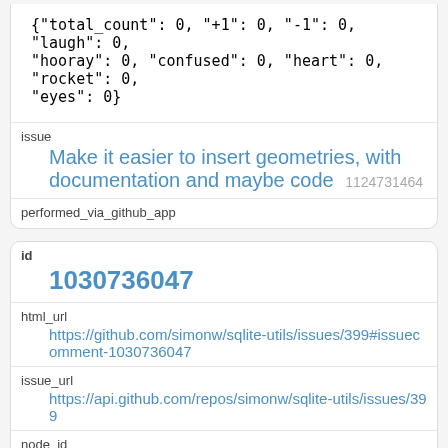| reactions | {"total_count": 0, "+1": 0, "-1": 0, "laugh": 0, "hooray": 0, "confused": 0, "heart": 0, "rocket": 0, "eyes": 0} |
| issue | Make it easier to insert geometries, with documentation and maybe code 1124731464 |
| performed_via_github_app |  |
| id | 1030736047 |
| html_url | https://github.com/simonw/sqlite-utils/issues/399#issuecomment-1030736047 |
| issue_url | https://api.github.com/repos/simonw/sqlite-utils/issues/399 |
| node_id | IC_kwDOCGYnMM49b8iv |
| user |  |